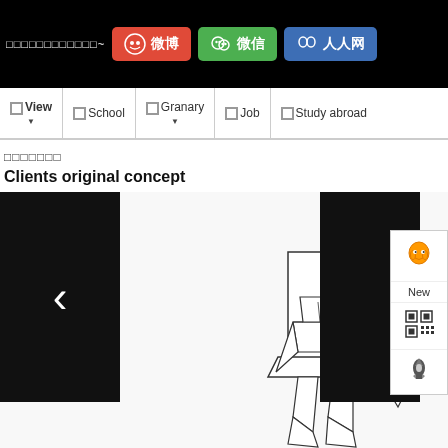□□□□□□□□□□□□~ | 微博 | 微信 | 人人网
□□ View | □□ School | □□ Granary | □□ Job | □□ Study abroad
□□□□□□□
Clients original concept
[Figure (illustration): Slider carousel area with left navigation arrow (dark panel), right dark panel, side floating panel with QQ icon and 'New' label and QR code icon and rocket icon, and a line-art sketch of a person sitting in a chair (low-poly style outline drawing) at the bottom right.]